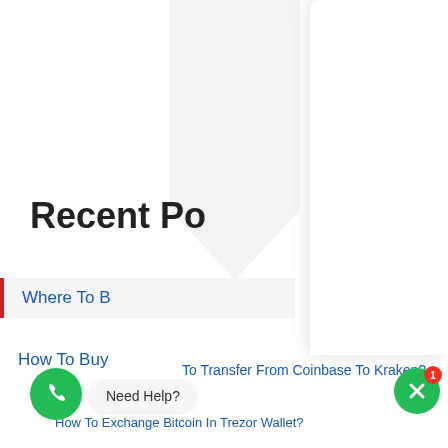Support Agent: Hello, How can we help you?
Let's start the conversation
Name
Email
Phone
Write a message
Start Chat
Recent Pos
Where To B
How To Buy
To Transfer From Coinbase To Kraken?
Need Help?
How To Exchange Bitcoin In Trezor Wallet?